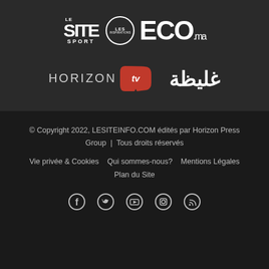[Figure (logo): Top section with media brand logos: Le Site Sport, Les Inspirations ECO.ma, Horizon TV, and Arabic-script logo on dark background]
© Copyright 2022, LESITEINFO.COM édités par Horizon Press Group | Tous droits réservés
Vie privée & Cookies
Qui sommes-nous?
Mentions Légales
Plan du Site
[Figure (other): Social media icons: Facebook, Twitter, YouTube, Instagram, RSS]